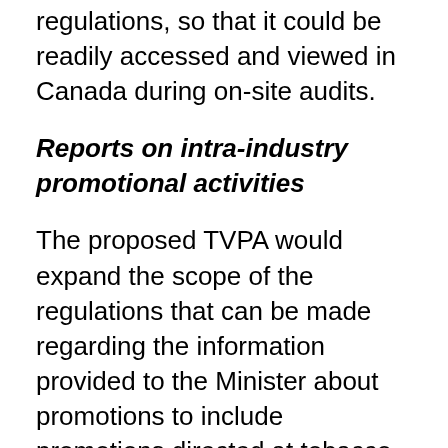regulations, so that it could be readily accessed and viewed in Canada during on-site audits.
Reports on intra-industry promotional activities
The proposed TVPA would expand the scope of the regulations that can be made regarding the information provided to the Minister about promotions to include promotions directed at tobacco growers and at other trade levels, such as tobacco distributors and retailers. Such information would be used by Health Canada to better understand intra-industry promotional